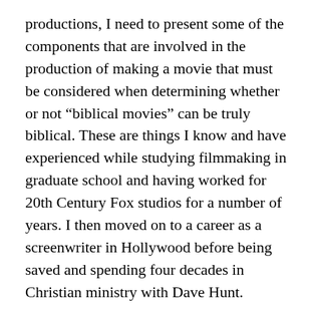productions, I need to present some of the components that are involved in the production of making a movie that must be considered when determining whether or not “biblical movies” can be truly biblical. These are things I know and have experienced while studying filmmaking in graduate school and having worked for 20th Century Fox studios for a number of years. I then moved on to a career as a screenwriter in Hollywood before being saved and spending four decades in Christian ministry with Dave Hunt.
This is how the process works. A movie